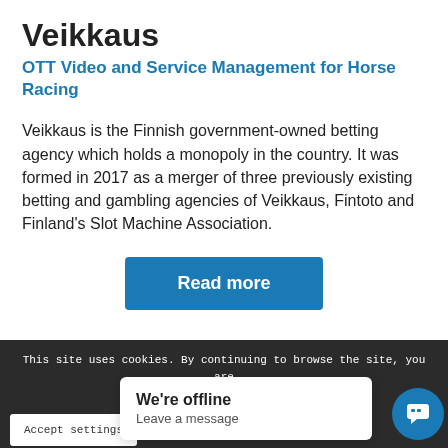Veikkaus
OTT Video and Service Management for Horse Racing
Veikkaus is the Finnish government-owned betting agency which holds a monopoly in the country. It was formed in 2017 as a merger of three previously existing betting and gambling agencies of Veikkaus, Fintoto and Finland's Slot Machine Association.
Read more
This site uses cookies. By continuing to browse the site, you are agree
Accept settings
We're offline
Leave a message